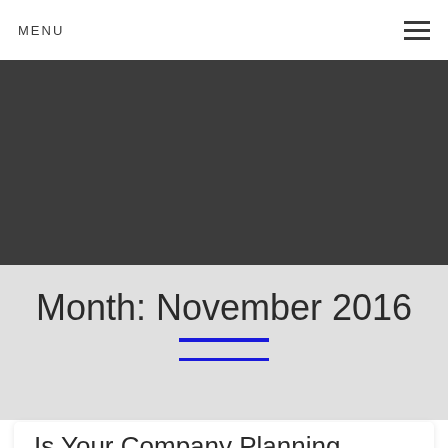MENU
[Figure (other): Dark gray banner/hero image placeholder area]
Month: November 2016
Is Your Company Planning